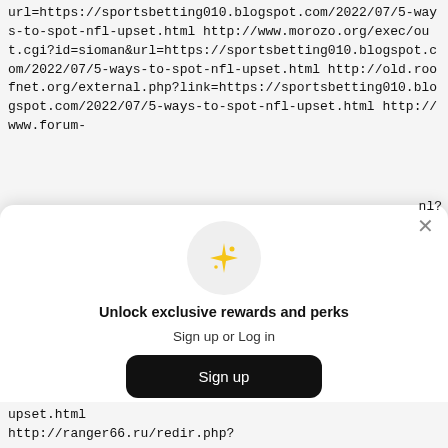url=https://sportsbetting010.blogspot.com/2022/07/5-ways-to-spot-nfl-upset.html
http://www.morozo.org/exec/out.cgi?id=sioman&url=https://sportsbetting010.blogspot.com/2022/07/5-ways-to-spot-nfl-upset.html
http://old.roofnet.org/external.php?link=https://sportsbetting010.blogspot.com/2022/07/5-ways-to-spot-nfl-upset.html
http://www.forum-
[Figure (screenshot): A modal dialog overlay with a sparkle emoji icon in a light grey circle, heading 'Unlock exclusive rewards and perks', subheading 'Sign up or Log in', a black 'Sign up' button, and 'Already have an account? Sign in' text. An X close button is in the top right.]
upset.html
http://ranger66.ru/redir.php?